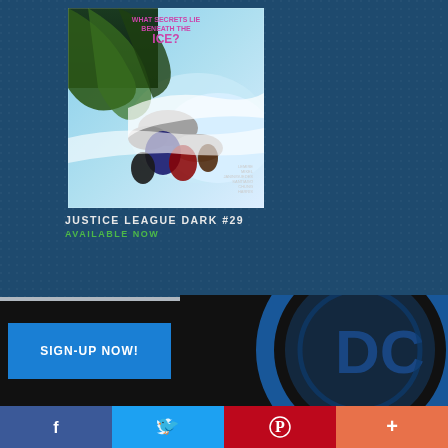[Figure (illustration): Comic book cover for Justice League Dark #29 showing superhero characters in an icy/underwater battle scene with text 'WHAT SECRETS LIE BENEATH THE ICE?' at the top]
JUSTICE LEAGUE DARK #29
AVAILABLE NOW
[Figure (logo): DC Comics logo - large stylized 'DC' emblem in blue tones on black background, partially cropped]
SIGN-UP NOW!
[Figure (infographic): Social media share bar with Facebook (blue), Twitter (light blue), Pinterest (red), and More (+) (orange) buttons]